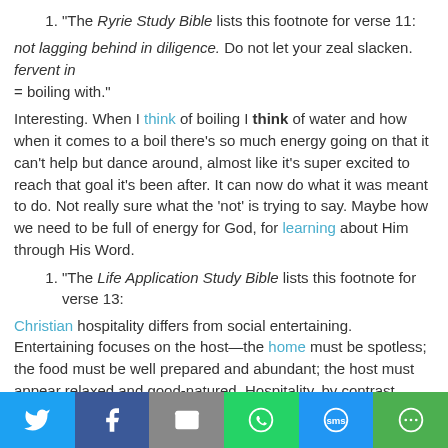"The Ryrie Study Bible lists this footnote for verse 11:
not lagging behind in diligence. Do not let your zeal slacken. fervent in = boiling with."
Interesting. When I think of boiling I think of water and how when it comes to a boil there’s so much energy going on that it can’t help but dance around, almost like it’s super excited to reach that goal it’s been after. It can now do what it was meant to do. Not really sure what the ‘not’ is trying to say. Maybe how we need to be full of energy for God, for learning about Him through His Word.
"The Life Application Study Bible lists this footnote for verse 13:
Christian hospitality differs from social entertaining. Entertaining focuses on the host—the home must be spotless; the food must be well prepared and abundant; the host must appear relaxed and good-natured. Hospitality, by contrast, focuses on the guests. Their needs—whether for a place to stay, nourishing food, a listening ear, or acceptance—are the primary concern. Hospitality can happen in a
[Figure (other): Social sharing toolbar with Twitter, Facebook, Email, WhatsApp, SMS, and More buttons]